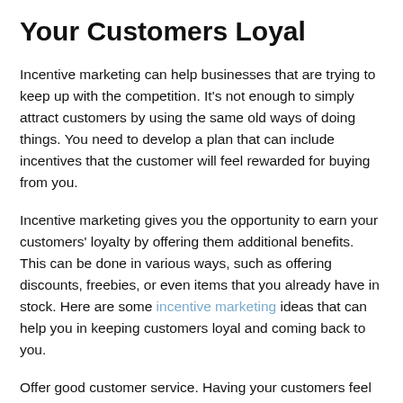Your Customers Loyal
Incentive marketing can help businesses that are trying to keep up with the competition. It's not enough to simply attract customers by using the same old ways of doing things. You need to develop a plan that can include incentives that the customer will feel rewarded for buying from you.
Incentive marketing gives you the opportunity to earn your customers' loyalty by offering them additional benefits. This can be done in various ways, such as offering discounts, freebies, or even items that you already have in stock. Here are some incentive marketing ideas that can help you in keeping customers loyal and coming back to you.
Offer good customer service. Having your customers feel comfortable with your service is very important, and you can do this by offering good customer service. Customers will